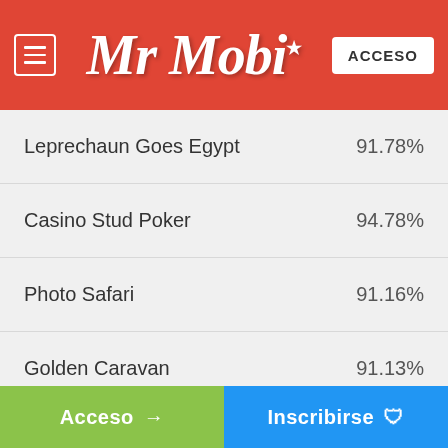[Figure (screenshot): Mr Mobi casino website header with red background, hamburger menu icon on left, stylized 'Mr Mobi' logo in center with star, and 'ACCESO' button on right]
| Game | RTP |
| --- | --- |
| Leprechaun Goes Egypt | 91.78% |
| Casino Stud Poker | 94.78% |
| Photo Safari | 91.16% |
| Golden Caravan | 91.13% |
| Golden Colts | 91.54% |
| Iron Girl | 91.67% |
| Jewel Box | 90.77% |
Acceso → | Inscribirse 🛡